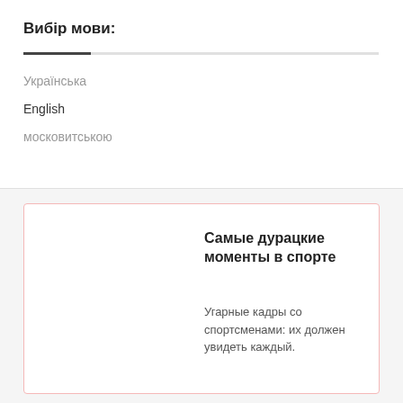Вибір мови:
Українська
English
московитською
Самые дурацкие моменты в спорте
Угарные кадры со спортсменами: их должен увидеть каждый.